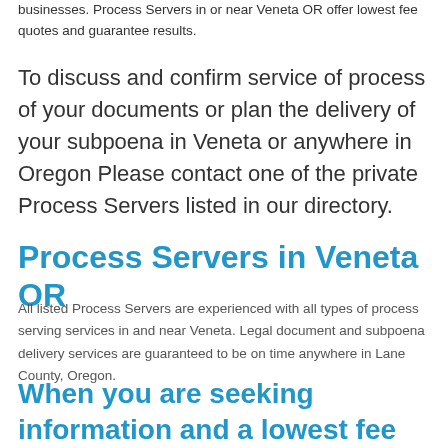businesses. Process Servers in or near Veneta OR offer lowest fee quotes and guarantee results.
To discuss and confirm service of process of your documents or plan the delivery of your subpoena in Veneta or anywhere in Oregon Please contact one of the private Process Servers listed in our directory.
Process Servers in Veneta OR
All listed Process Servers are experienced with all types of process serving services in and near Veneta. Legal document and subpoena delivery services are guaranteed to be on time anywhere in Lane County, Oregon.
When you are seeking information and a lowest fee quote, we urge you to contact one or all of the Process